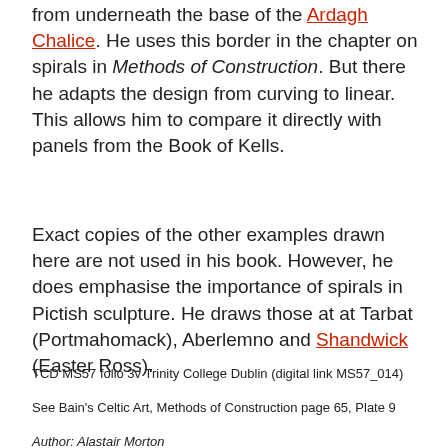from underneath the base of the Ardagh Chalice. He uses this border in the chapter on spirals in Methods of Construction. But there he adapts the design from curving to linear. This allows him to compare it directly with panels from the Book of Kells.
Exact copies of the other examples drawn here are not used in his book. However, he does emphasise the importance of spirals in Pictish sculpture. He draws those at at Tarbat (Portmahomack), Aberlemno and Shandwick (Easter Ross).
TCD MS57 folio 3v Trinity College Dublin (digital link MS57_014)
See Bain's Celtic Art, Methods of Construction page 65, Plate 9
Author: Alastair Morton